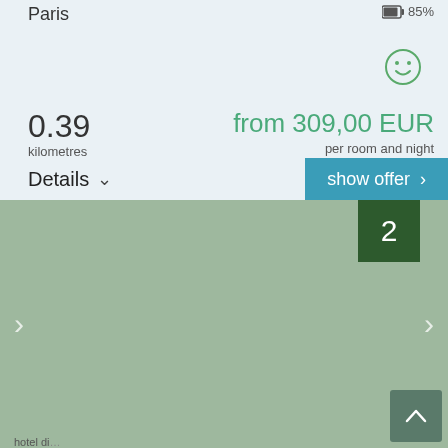Paris
85%
0.39
kilometres
from 309,00 EUR
per room and night
Details
show offer
[Figure (screenshot): Hotel listing image placeholder shown as muted green color block with navigation arrows on left and right, number badge '2' in dark green top right, scroll-to-top button bottom right]
hotel di...